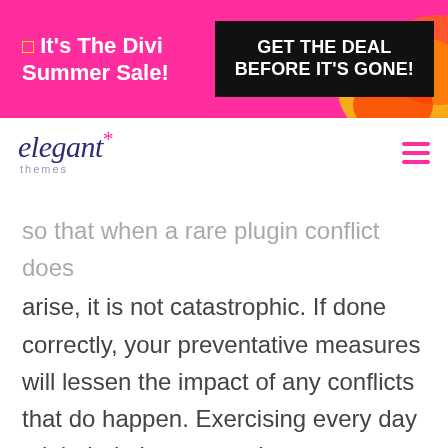[Figure (infographic): Hot pink promotional banner with text 'It's The Divi Summer Sale!' on the left and a black box with 'GET THE DEAL BEFORE IT'S GONE!' on the right, with decorative yellow/orange/red shapes]
[Figure (logo): Elegant Themes logo: italic 'elegant' text in dark blue with a pink asterisk/star, and 'themes' below in small gray letters]
so that when a rare plugin conflict does arise, it is not catastrophic. If done correctly, your preventative measures will lessen the impact of any conflicts that do happen. Exercising every day might help boost your immune system, but you can still catch the flu or break your leg. And your WordPress install might be conflict-free for ages, only to catch a really nasty